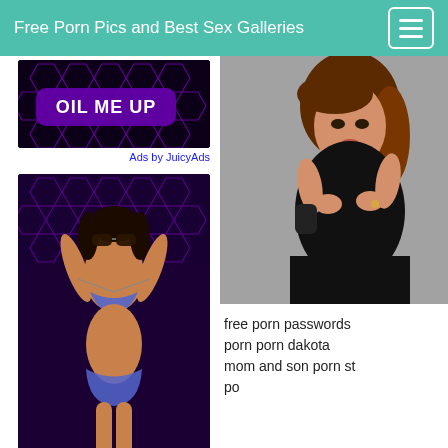Free Porn Pics and Best Sex Galleries
[Figure (photo): Advertisement banner with dark purple hexagonal background and text OIL ME UP]
Ads by JuicyAds
[Figure (photo): Woman in purple bikini with sunglasses against purple hexagonal background]
[Figure (photo): Woman in black dress posing]
free porn passwords porn porn dakota mom and son porn st po